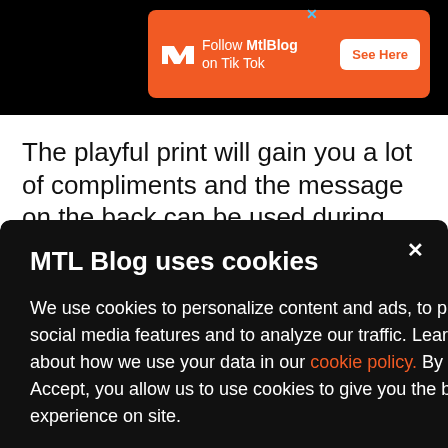[Figure (screenshot): Orange MTL Blog advertisement banner: logo with white zigzag, text 'Follow MtlBlog on Tik Tok', white button 'See Here', blue X close button]
The playful print will gain you a lot of compliments and the message on the back can be used during social distancing,
MTL Blog uses cookies
We use cookies to personalize content and ads, to provide social media features and to analyze our traffic. Learn more about how we use your data in our cookie policy. By clicking Accept, you allow us to use cookies to give you the best experience on site.
Accept